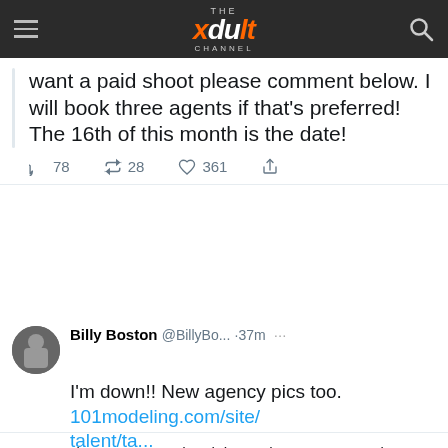THE xdult CHANNEL
want a paid shoot please comment below. I will book three agents if that's preferred! The 16th of this month is the date!
78  28  361
Billy Boston @BillyBo... · 37m  I'm down!! New agency pics too. 101modeling.com/site/talent/ta...
LOL  Dude!! For a guy who claims to be on set everyday you sure do spend a lot on time on Twitter talking to yourself.